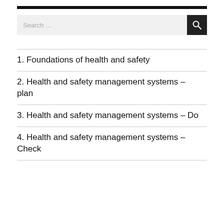[Figure (other): Thick black horizontal rule separator bar]
[Figure (other): Search input box with search icon button]
1. Foundations of health and safety
2. Health and safety management systems – plan
3. Health and safety management systems – Do
4. Health and safety management systems – Check